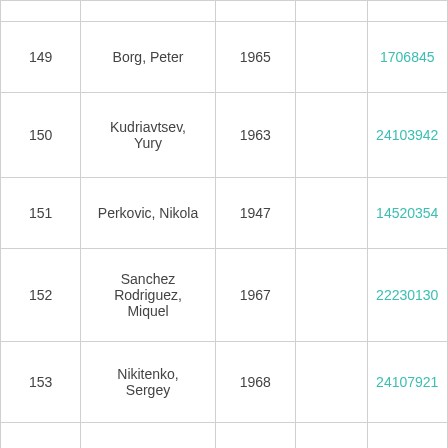| 149 | Borg, Peter | 1965 |  | 1706845 |
| 150 | Kudriavtsev, Yury | 1963 |  | 24103942 |
| 151 | Perkovic, Nikola | 1947 |  | 14520354 |
| 152 | Sanchez Rodriguez, Miquel | 1967 |  | 22230130 |
| 153 | Nikitenko, Sergey | 1968 |  | 24107921 |
| 154 | Gomez Fernandez, Alfredo | 1971 |  | 32013574 |